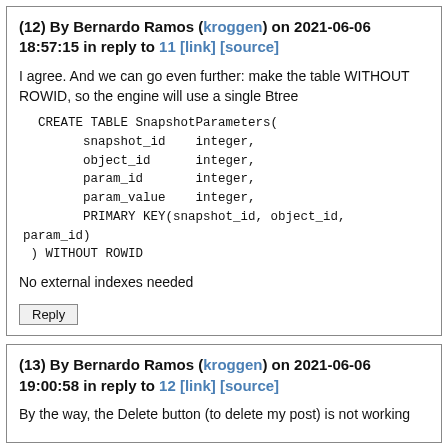(12) By Bernardo Ramos (kroggen) on 2021-06-06 18:57:15 in reply to 11 [link] [source]
I agree. And we can go even further: make the table WITHOUT ROWID, so the engine will use a single Btree
CREATE TABLE SnapshotParameters(
        snapshot_id    integer,
        object_id      integer,
        param_id       integer,
        param_value    integer,
        PRIMARY KEY(snapshot_id, object_id, param_id)
 ) WITHOUT ROWID
No external indexes needed
Reply
(13) By Bernardo Ramos (kroggen) on 2021-06-06 19:00:58 in reply to 12 [link] [source]
By the way, the Delete button (to delete my post) is not working